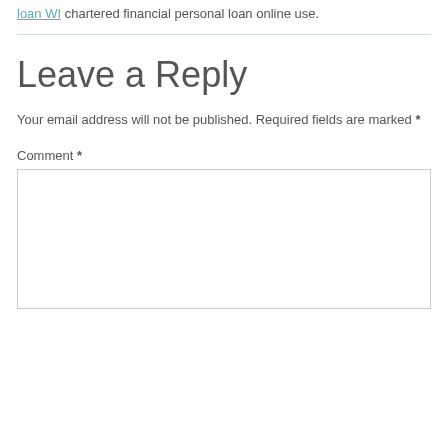loan WI chartered financial personal loan online use.
Leave a Reply
Your email address will not be published. Required fields are marked *
Comment *